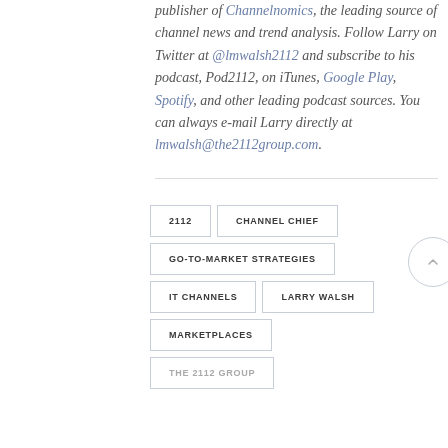publisher of Channelnomics, the leading source of channel news and trend analysis. Follow Larry on Twitter at @lmwalsh2112 and subscribe to his podcast, Pod2112, on iTunes, Google Play, Spotify, and other leading podcast sources. You can always e-mail Larry directly at lmwalsh@the2112group.com.
2112
CHANNEL CHIEF
GO-TO-MARKET STRATEGIES
IT CHANNELS
LARRY WALSH
MARKETPLACES
THE 2112 GROUP